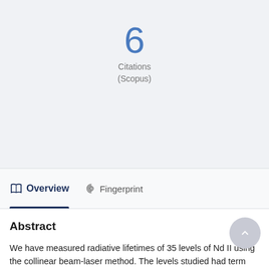6
Citations
(Scopus)
Overview
Fingerprint
Abstract
We have measured radiative lifetimes of 35 levels of Nd II using the collinear beam-laser method. The levels studied had term